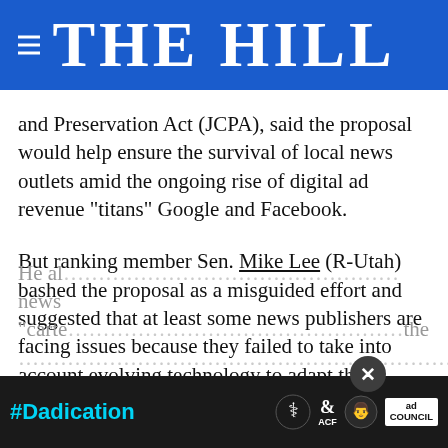THE HILL
and Preservation Act (JCPA), said the proposal would help ensure the survival of local news outlets amid the ongoing rise of digital ad revenue “titans” Google and Facebook.
But ranking member Sen. Mike Lee (R-Utah) bashed the proposal as a misguided effort and suggested that at least some news publishers are facing issues because they failed to take into account evolving technology to adapt their business models.
He al… news “carte… the …
[Figure (screenshot): Ad banner for #Dadication campaign featuring HHS, ACF, National Responsible Fatherhood Clearinghouse, and Ad Council logos on a dark background, with a close (x) button]